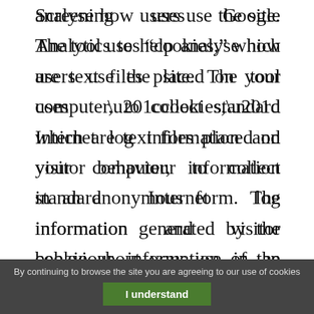Screening uses Google Analytics to help analyse how users use the site. The tool uses “cookies,” which are text files placed on your computer, to collect standard Internet log information and visitor behaviour information in an anonymous form. The information generated by the cookie about your use of the website (including your IP address) is transmitted to Google. This information is then used to evaluate visitors’ use of this website and to compile statistical reports on
By continuing to browse the site you are agreeing to our use of cookies